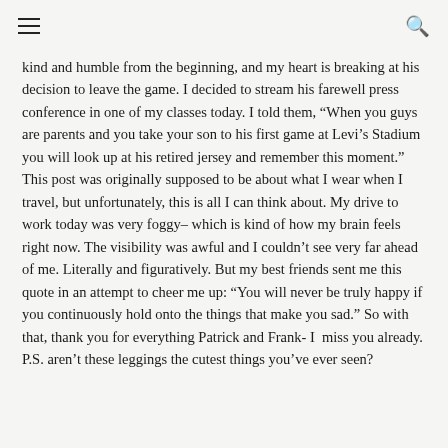≡  [search icon]
kind and humble from the beginning, and my heart is breaking at his decision to leave the game. I decided to stream his farewell press conference in one of my classes today. I told them, “When you guys are parents and you take your son to his first game at Levi’s Stadium you will look up at his retired jersey and remember this moment.” This post was originally supposed to be about what I wear when I travel, but unfortunately, this is all I can think about. My drive to work today was very foggy– which is kind of how my brain feels right now. The visibility was awful and I couldn’t see very far ahead of me. Literally and figuratively. But my best friends sent me this quote in an attempt to cheer me up: “You will never be truly happy if you continuously hold onto the things that make you sad.” So with that, thank you for everything Patrick and Frank- I miss you already.
P.S. aren’t these leggings the cutest things you’ve ever seen?